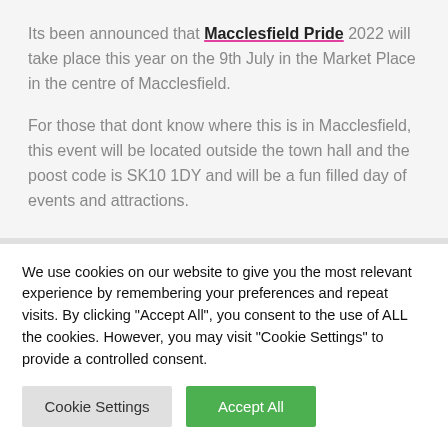Its been announced that Macclesfield Pride 2022 will take place this year on the 9th July in the Market Place in the centre of Macclesfield.
For those that dont know where this is in Macclesfield, this event will be located outside the town hall and the poost code is SK10 1DY and will be a fun filled day of events and attractions.
We use cookies on our website to give you the most relevant experience by remembering your preferences and repeat visits. By clicking "Accept All", you consent to the use of ALL the cookies. However, you may visit "Cookie Settings" to provide a controlled consent.